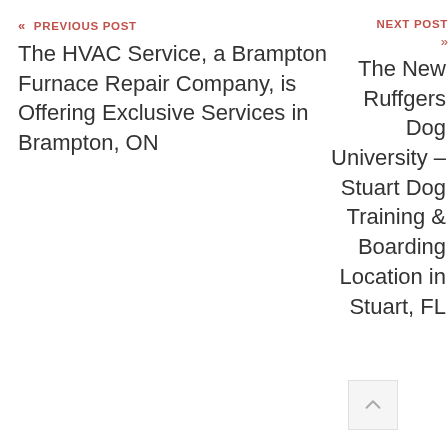« PREVIOUS POST
The HVAC Service, a Brampton Furnace Repair Company, is Offering Exclusive Services in Brampton, ON
NEXT POST »
The New Ruffgers Dog University – Stuart Dog Training & Boarding Location in Stuart, FL